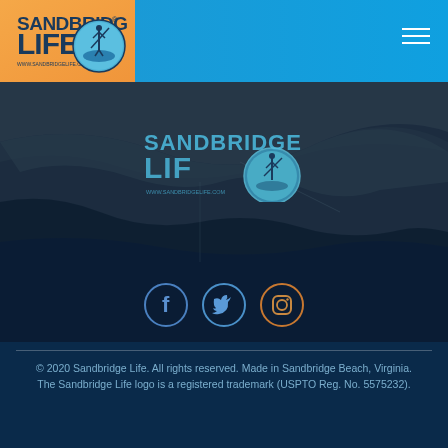[Figure (logo): Sandbridge Life logo — stylized text SANDBRIDGE LIFE with circular emblem showing person paddleboarding, warm orange background]
[Figure (photo): Aerial/satellite map view of Sandbridge Beach, Virginia coastline with dark overlay and Sandbridge Life logo centered]
[Figure (infographic): Three social media icon circles: Facebook (blue), Twitter (blue), Instagram (orange outline)]
© 2020 Sandbridge Life. All rights reserved. Made in Sandbridge Beach, Virginia.
The Sandbridge Life logo is a registered trademark (USPTO Reg. No. 5575232).